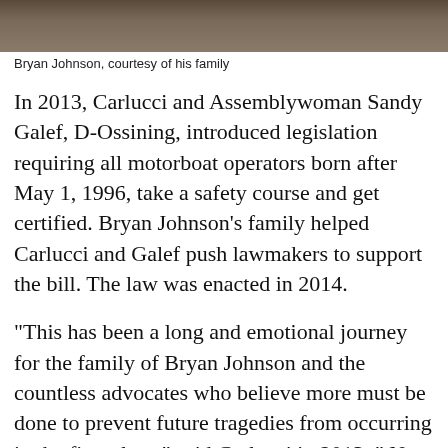[Figure (photo): Top portion of a photo showing Bryan Johnson, cropped to show a small strip at the top of the page.]
Bryan Johnson, courtesy of his family
In 2013, Carlucci and Assemblywoman Sandy Galef, D-Ossining, introduced legislation requiring all motorboat operators born after May 1, 1996, take a safety course and get certified. Bryan Johnson’s family helped Carlucci and Galef push lawmakers to support the bill. The law was enacted in 2014.
“This has been a long and emotional journey for the family of Bryan Johnson and the countless advocates who believe more must be done to prevent future tragedies from occurring in the first place,” said Carlucci in 2013. “ New York will now be among the leaders across the nation who understand the dangers of operating a vessel without proper training.”